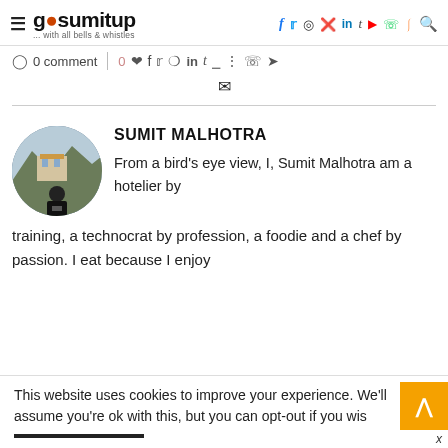gosumitup ... with all bells & whistles — navigation header with social icons
0 comment | 0 ♡ social share icons
SUMIT MALHOTRA
From a bird's eye view, I, Sumit Malhotra am a hotelier by training, a technocrat by profession, a foodie and a chef by passion. I eat because I enjoy
This website uses cookies to improve your experience. We'll assume you're ok with this, but you can opt-out if you wish.